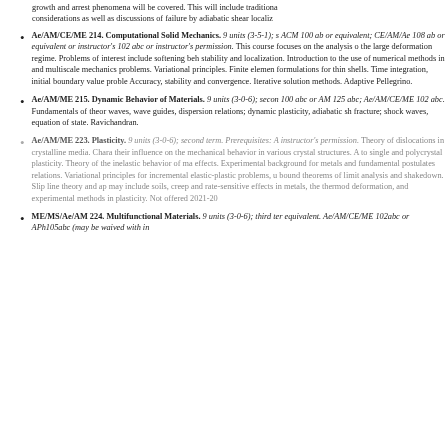growth and arrest phenomena will be covered. This will include traditional considerations as well as discussions of failure by adiabatic shear localiz...
Ae/AM/CE/ME 214. Computational Solid Mechanics. 9 units (3-5-1); s... ACM 100 ab or equivalent; CE/AM/Ae 108 ab or equivalent or instructor's... 102 abc or instructor's permission. This course focuses on the analysis of the large deformation regime. Problems of interest include softening beh... stability and localization. Introduction to the use of numerical methods in and multiscale mechanics problems. Variational principles. Finite element formulations for thin shells. Time integration, initial boundary value proble... Accuracy, stability and convergence. Iterative solution methods. Adaptive... Pellegrino.
Ae/AM/ME 215. Dynamic Behavior of Materials. 9 units (3-0-6); secon... 100 abc or AM 125 abc; Ae/AM/CE/ME 102 abc. Fundamentals of theor... waves, wave guides, dispersion relations; dynamic plasticity, adiabatic sh... fracture; shock waves, equation of state. Ravichandran.
Ae/AM/ME 223. Plasticity. 9 units (3-0-6); second term. Prerequisites: A... instructor's permission. Theory of dislocations in crystalline media. Char... their influence on the mechanical behavior in various crystal structures. A... to single and polycrystal plasticity. Theory of the inelastic behavior of ma... effects. Experimental background for metals and fundamental postulates... relations. Variational principles for incremental elastic-plastic problems, u... bound theorems of limit analysis and shakedown. Slip line theory and ap... may include soils, creep and rate-sensitive effects in metals, the thermod... deformation, and experimental methods in plasticity. Not offered 2021-20
ME/MS/Ae/AM 224. Multifunctional Materials. 9 units (3-0-6); third ter... equivalent. Ae/AM/CE/ME 102abc or APh105abc (may be waived with in...